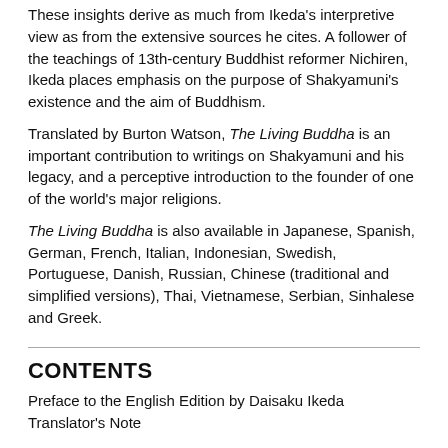These insights derive as much from Ikeda's interpretive view as from the extensive sources he cites. A follower of the teachings of 13th-century Buddhist reformer Nichiren, Ikeda places emphasis on the purpose of Shakyamuni's existence and the aim of Buddhism.
Translated by Burton Watson, The Living Buddha is an important contribution to writings on Shakyamuni and his legacy, and a perceptive introduction to the founder of one of the world's major religions.
The Living Buddha is also available in Japanese, Spanish, German, French, Italian, Indonesian, Swedish, Portuguese, Danish, Russian, Chinese (traditional and simplified versions), Thai, Vietnamese, Serbian, Sinhalese and Greek.
CONTENTS
Preface to the English Edition by Daisaku Ikeda
Translator's Note
1. The Young Shakyamuni
Shakyamuni
Shakyamuni's Names
The Shakya Tribe
The Historical Setting
Shakyamuni's Family
Shakyamuni's Early...